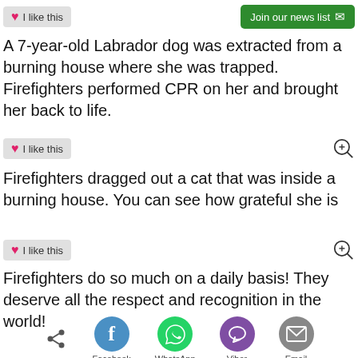[Figure (other): Like button with heart icon and Join our news list button]
A 7-year-old Labrador dog was extracted from a burning house where she was trapped. Firefighters performed CPR on her and brought her back to life.
[Figure (other): Like button and zoom icon]
Firefighters dragged out a cat that was inside a burning house. You can see how grateful she is
[Figure (other): Like button and zoom icon]
Firefighters do so much on a daily basis! They deserve all the respect and recognition in the world!
[Figure (other): Share buttons: share icon, Facebook, WhatsApp, Viber, Email]